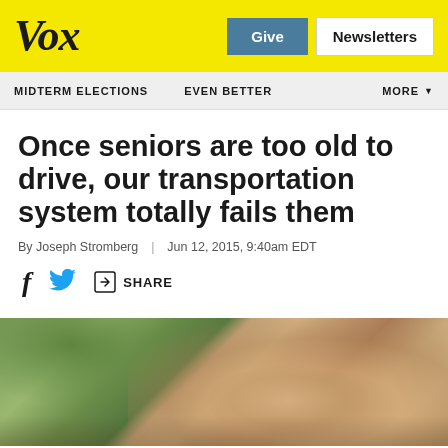Vox | Give | Newsletters
MIDTERM ELECTIONS | EVEN BETTER | MORE
Once seniors are too old to drive, our transportation system totally fails them
By Joseph Stromberg | Jun 12, 2015, 9:40am EDT
[Figure (other): Share bar with Facebook, Twitter, and generic share icons]
[Figure (photo): Close-up photograph of an elderly person's hands, likely being assisted into a vehicle. Green foliage visible in the background.]